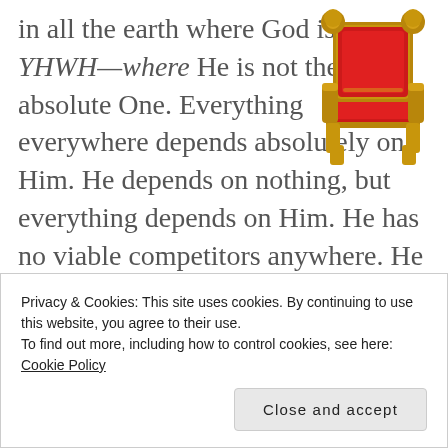in all the earth where God is not YHWH—where He is not the absolute One. Everything everywhere depends absolutely on Him. He depends on nothing, but everything depends on Him. He has no viable competitors anywhere. He has no challengers to His throne. He is above all things everywhere. He sustains all things everywhere. He is the aim and goal
[Figure (photo): A golden ornate throne with red cushioning/upholstery, depicted from the front]
Privacy & Cookies: This site uses cookies. By continuing to use this website, you agree to their use.
To find out more, including how to control cookies, see here: Cookie Policy